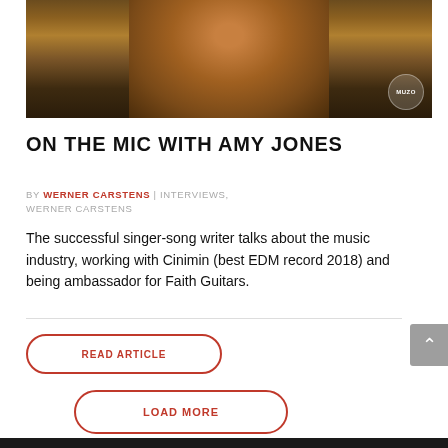[Figure (photo): Portrait photo of Amy Jones, a singer with curly blonde hair, looking toward camera. MUZO watermark in bottom right corner.]
ON THE MIC WITH AMY JONES
BY WERNER CARSTENS | INTERVIEWS, WERNER CARSTENS
The successful singer-song writer talks about the music industry, working with Cinimin (best EDM record 2018) and being ambassador for Faith Guitars.
READ ARTICLE
LOAD MORE